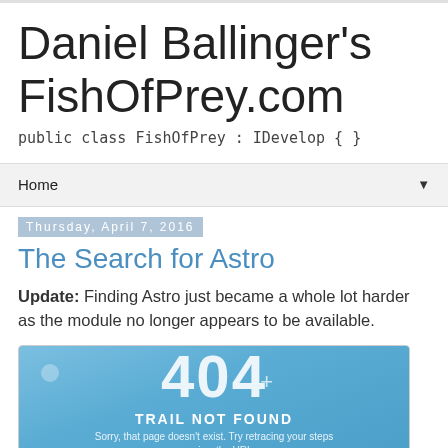Daniel Ballinger's FishOfPrey.com
public class FishOfPrey : IDevelop { }
Home ▼
Thursday, April 7, 2016
The Search for Astro
Update: Finding Astro just became a whole lot harder as the module no longer appears to be available.
[Figure (screenshot): 404 error page screenshot showing '404 TRAIL NOT FOUND — Sorry, that page doesn't exist. Try retracing your steps or review the URL.' on a blue background]